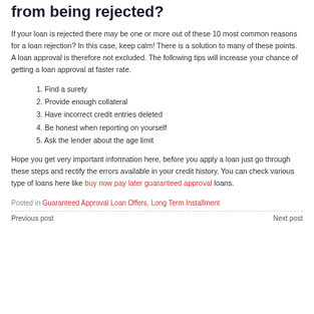from being rejected?
If your loan is rejected there may be one or more out of these 10 most common reasons for a loan rejection? In this case, keep calm! There is a solution to many of these points. A loan approval is therefore not excluded. The following tips will increase your chance of getting a loan approval at faster rate.
1. Find a surety
2. Provide enough collateral
3. Have incorrect credit entries deleted
4. Be honest when reporting on yourself
5. Ask the lender about the age limit
Hope you get very important information here, before you apply a loan just go through these steps and rectify the errors available in your credit history. You can check various type of loans here like buy now pay later guaranteed approval loans.
Posted in Guaranteed Approval Loan Offers, Long Term Installment
Previous post | Next post